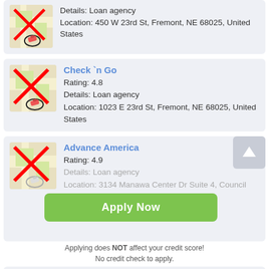[Figure (screenshot): Partial listing card showing a map thumbnail with red X mark and pencil icon, with details: Loan agency, Location: 450 W 23rd St, Fremont, NE 68025, United States]
Details: Loan agency
Location: 450 W 23rd St, Fremont, NE 68025, United States
Check `n Go
Rating: 4.8
Details: Loan agency
Location: 1023 E 23rd St, Fremont, NE 68025, United States
Advance America
Rating: 4.9
Details: Loan agency
Location: 3134 Manawa Center Dr Suite 4, Council Bluffs, IA 51501, United States
Apply Now
Applying does NOT affect your credit score!
No credit check to apply.
EZ Money Check Cashing